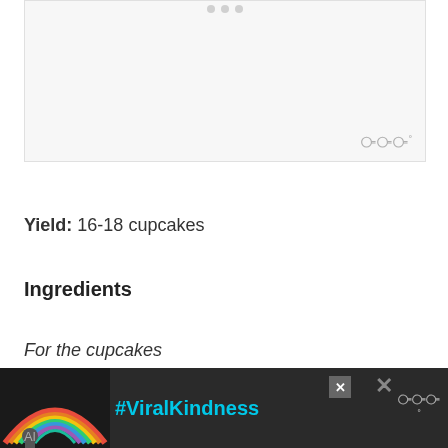[Figure (photo): Light gray image placeholder box with a small watermark logo in lower right corner]
Yield: 16-18 cupcakes
Ingredients
For the cupcakes
[Figure (other): Advertisement banner with dark background, rainbow illustration, #ViralKindness hashtag text, close button and watermark logo]